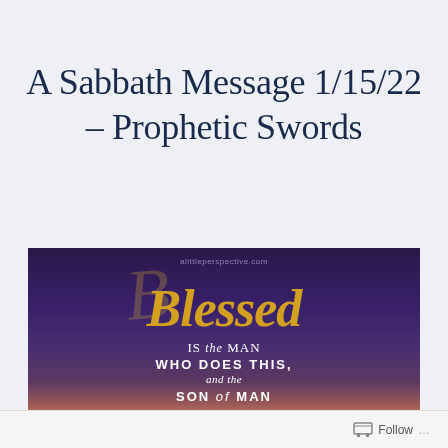A Sabbath Message 1/15/22 – Prophetic Swords
[Figure (illustration): Decorative religious image with purple-to-orange gradient background. Gold cursive script reads 'Blessed' at top, followed by white text: 'IS the MAN WHO DOES THIS, and the SON of MAN WHO LAYS HOLD'. Watermark reads 'alittleperspective.com'.]
Follow